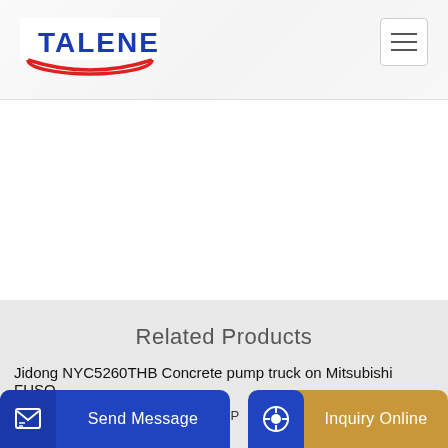[Figure (logo): Talenet company logo with red swoosh and blue text]
[Figure (other): Hamburger/menu icon button in top right corner]
Related Products
Jidong NYC5260THB Concrete pump truck on Mitsubishi FUSO
CMT CONCRETE PUMPING LLC
Send Message
Inquiry Online